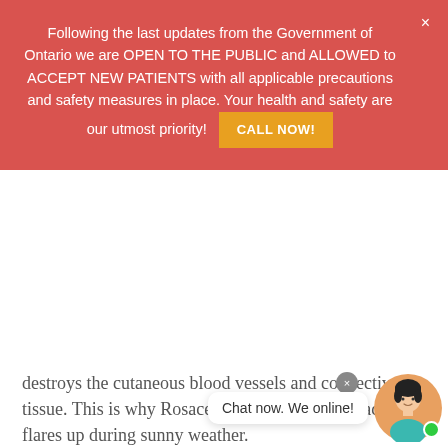Following the last updates from the Government of Ontario we are OPEN TO THE PUBLIC and ALLOWED to ACCEPT NEW PATIENTS with all applicable precautions and safety measures in place. Your health and safety are our utmost priority! CALL NOW!
destroys the cutaneous blood vessels and connective tissue. This is why Rosacea tends to affect the face and flares up during sunny weather.
Sex – women have a higher chance of getting affected by rosacea than men.
Acne – If you have ever suffered severe acne, you're more likely... suffering from Rosacea.
Chat now. We online!